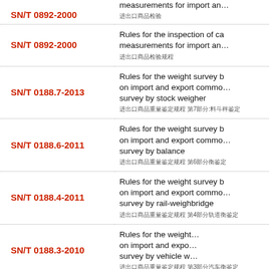| Code | Description |
| --- | --- |
| SN/T 0892-2000 | Rules for the inspection of cargo measurements for import and export / 进出口商品检验 |
| SN/T 0188.7-2013 | Rules for the weight survey by on import and export commodities survey by stock weigher / 进出口商品重量鉴定规程 第7部分:料斗秤鉴定 |
| SN/T 0188.6-2011 | Rules for the weight survey by on import and export commodities survey by balance / 进出口商品重量鉴定规程 第6部分衡鉴定 |
| SN/T 0188.4-2011 | Rules for the weight survey by on import and export commodities survey by rail-weighbridge / 进出口商品重量鉴定规程 第4部分轨道衡鉴定 |
| SN/T 0188.3-2010 | Rules for the weight survey by on import and export commodities survey by vehicle weighbridge / 进出口商品重量鉴定规程 第3部分汽车衡鉴定 |
| (partial) | Rules for the weight survey by on import and export and... |